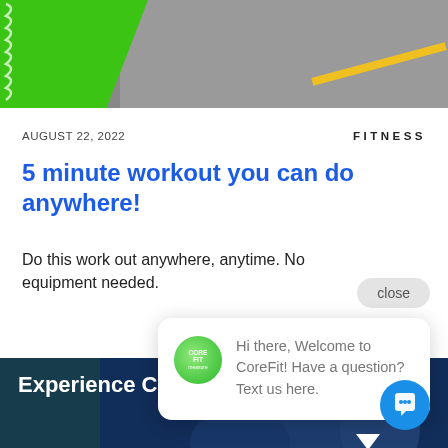[Figure (photo): Top banner photo showing a green spiral notebook and grey asphalt road with yellow line]
AUGUST 22, 2022
FITNESS
5 minute workout you can do anywhere!
Do this work out anywhere, anytime. No equipment needed.
close
Hi there, Welcome to CoreFit! Have a question? Text us here.
[Figure (photo): Bottom banner showing people with raised hands, dark blue overlay, text 'Experience CoreFit']
Experience CoreFit